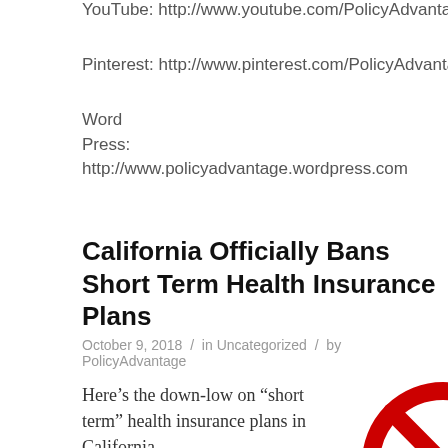YouTube: http://www.youtube.com/PolicyAdvanta
Pinterest: http://www.pinterest.com/PolicyAdvanta
Word
Press: http://www.policyadvantage.wordpress.com
California Officially Bans Short Term Health Insurance Plans
October 9, 2018 / in Uncategorized / by PolicyAdvantage
Here’s the down-low on “short term” health insurance plans in California
[Figure (illustration): Red prohibition/ban circle symbol (a circle with a diagonal line through it), indicating something is banned or not allowed.]